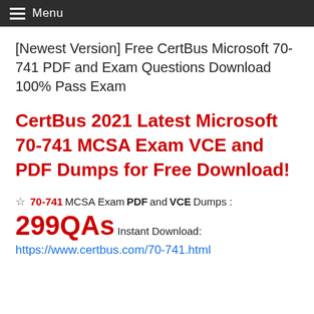Menu
[Newest Version] Free CertBus Microsoft 70-741 PDF and Exam Questions Download 100% Pass Exam
CertBus 2021 Latest Microsoft 70-741 MCSA Exam VCE and PDF Dumps for Free Download!
☆ 70-741 MCSA Exam PDF and VCE Dumps : 299QAs Instant Download: https://www.certbus.com/70-741.html